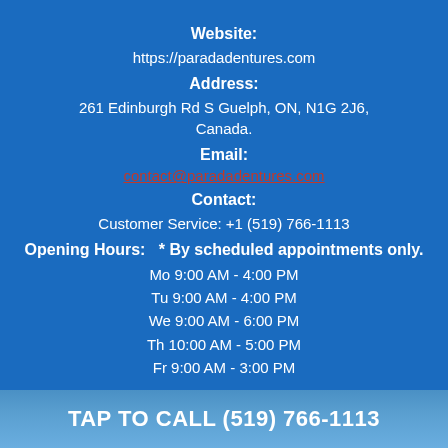Website:
https://paradadentures.com
Address:
261 Edinburgh Rd S Guelph, ON, N1G 2J6, Canada.
Email:
contact@paradadentures.com
Contact:
Customer Service: +1 (519) 766-1113
Opening Hours:   * By scheduled appointments only.
Mo 9:00 AM - 4:00 PM
Tu 9:00 AM - 4:00 PM
We 9:00 AM - 6:00 PM
Th 10:00 AM - 5:00 PM
Fr 9:00 AM - 3:00 PM
TAP TO CALL (519) 766-1113